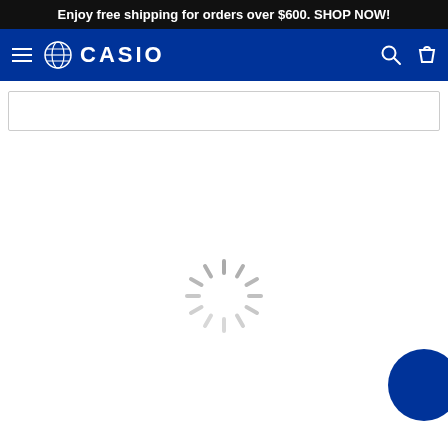Enjoy free shipping for orders over $600. SHOP NOW!
[Figure (screenshot): Casio website navigation bar with hamburger menu, globe icon, CASIO logo in white on dark blue background, and search/cart icons on the right]
[Figure (other): Empty search input box with grey border]
[Figure (other): Loading spinner (animated circular spinner with radiating grey dashes) centered on a white page, with a blue circular chat button partially visible in the bottom right corner]